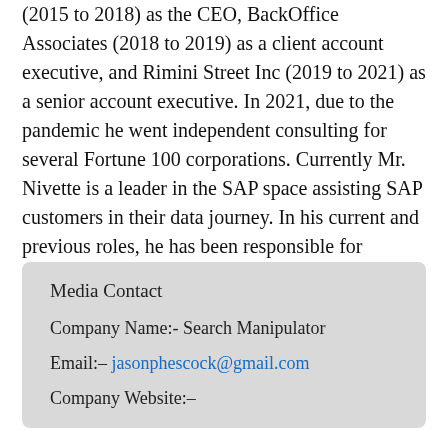(2015 to 2018) as the CEO, BackOffice Associates (2018 to 2019) as a client account executive, and Rimini Street Inc (2019 to 2021) as a senior account executive. In 2021, due to the pandemic he went independent consulting for several Fortune 100 corporations. Currently Mr. Nivette is a leader in the SAP space assisting SAP customers in their data journey. In his current and previous roles, he has been responsible for leading and working with teams, both large and small.
Media Contact
Company Name:- Search Manipulator
Email:- jasonphescock@gmail.com
Company Website:-